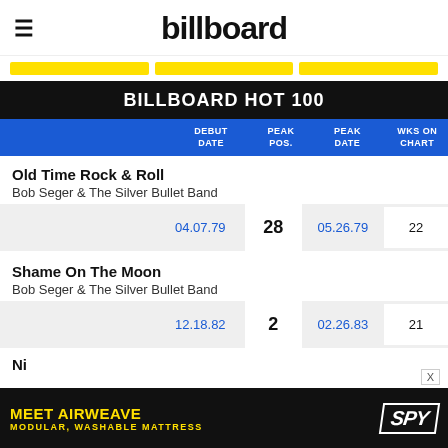billboard
BILLBOARD HOT 100
| DEBUT DATE | PEAK POS. | PEAK DATE | WKS ON CHART |
| --- | --- | --- | --- |
| Old Time Rock & Roll / Bob Seger & The Silver Bullet Band | 04.07.79 | 28 | 05.26.79 | 22 |
| Shame On The Moon / Bob Seger & The Silver Bullet Band | 12.18.82 | 2 | 02.26.83 | 21 |